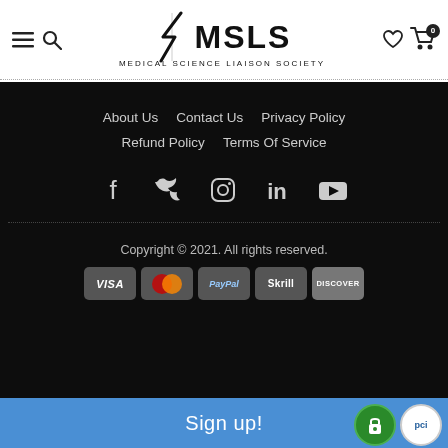[Figure (logo): MSLS Medical Science Liaison Society logo with stylized S graphic]
About Us
Contact Us
Privacy Policy
Refund Policy
Terms Of Service
[Figure (infographic): Social media icons: Facebook, Twitter, Instagram, LinkedIn, YouTube]
Copyright © 2021. All rights reserved.
[Figure (infographic): Payment method icons: VISA, Mastercard, PayPal, Skrill, Discover]
Sign up!